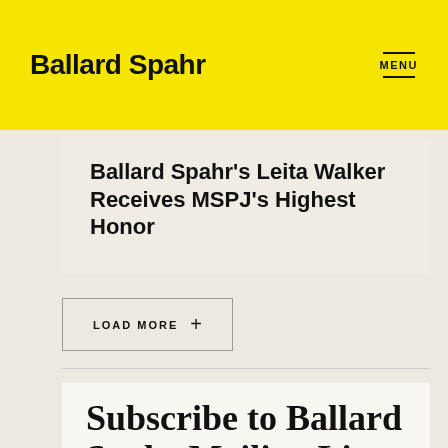Ballard Spahr
Ballard Spahr’s Leita Walker Receives MSPJ’s Highest Honor
LOAD MORE +
Subscribe to Ballard Spahr Mailing Lists
Get the latest significant legal alerts, news,